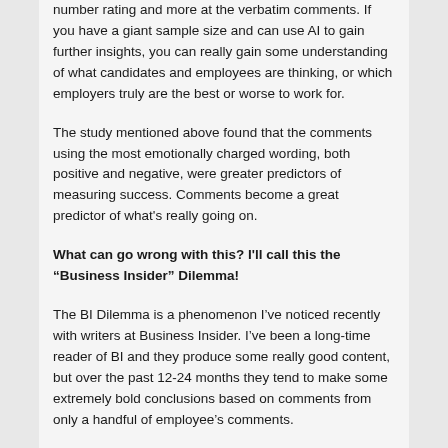number rating and more at the verbatim comments. If you have a giant sample size and can use AI to gain further insights, you can really gain some understanding of what candidates and employees are thinking, or which employers truly are the best or worse to work for.
The study mentioned above found that the comments using the most emotionally charged wording, both positive and negative, were greater predictors of measuring success. Comments become a great predictor of what's really going on.
What can go wrong with this? I'll call this the “Business Insider” Dilemma!
The BI Dilemma is a phenomenon I’ve noticed recently with writers at Business Insider. I’ve been a long-time reader of BI and they produce some really good content, but over the past 12-24 months they tend to make some extremely bold conclusions based on comments from only a handful of employee’s comments.